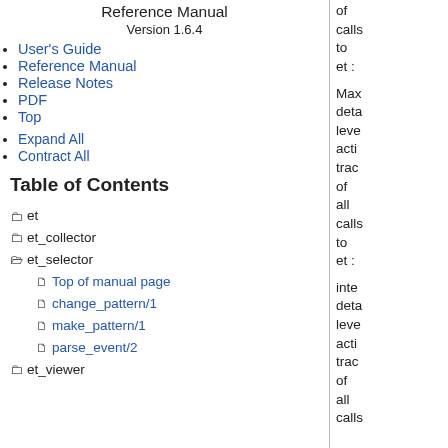Reference Manual
Version 1.6.4
User's Guide
Reference Manual
Release Notes
PDF
Top
Expand All
Contract All
Table of Contents
et
et_collector
et_selector
Top of manual page
change_pattern/1
make_pattern/1
parse_event/2
et_viewer
of calls to et : Max deta leve acti trac of all calls to et : inte deta leve acti trac of all calls